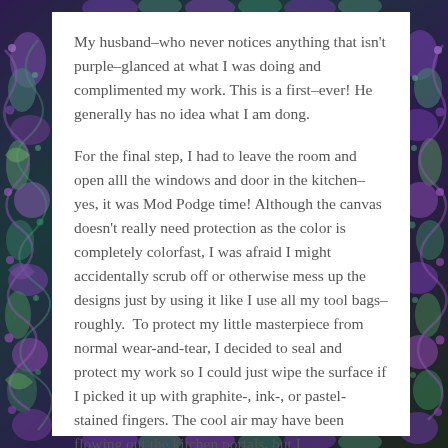My husband–who never notices anything that isn't purple–glanced at what I was doing and complimented my work. This is a first–ever! He generally has no idea what I am dong.
For the final step, I had to leave the room and open alll the windows and door in the kitchen–yes, it was Mod Podge time! Although the canvas doesn't really need protection as the color is completely colorfast, I was afraid I might accidentally scrub off or otherwise mess up the designs just by using it like I use all my tool bags–roughly.  To protect my little masterpiece from normal wear-and-tear, I decided to seal and protect my work so I could just wipe the surface if I picked it up with graphite-, ink-, or pastel-stained fingers. The cool air may have been flowing out the kitchen portals, but I